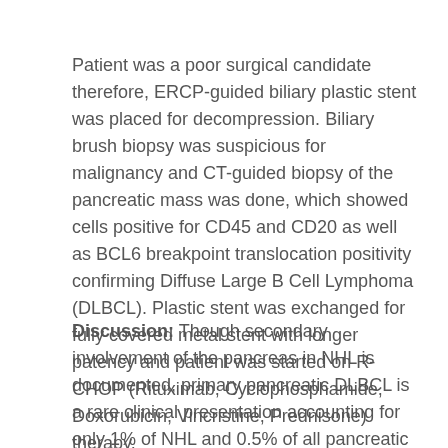Patient was a poor surgical candidate therefore, ERCP-guided biliary plastic stent was placed for decompression. Biliary brush biopsy was suspicious for malignancy and CT-guided biopsy of the pancreatic mass was done, which showed cells positive for CD45 and CD20 as well as BCL6 breakpoint translocation positivity confirming Diffuse Large B Cell Lymphoma (DLBCL). Plastic stent was exchanged for fully covered metal stent with longer patency and patient was started on R-CHOP (Rituximab, Cyclophosphamide, Doxorubicin, Vincristine, Prednisone) therapy.
Discussion: Though secondary involvement of the pancreas in NHL is documented, primary pancreatic DLBCL is a rare clinical presentation accounting for only 1% of NHL and 0.5% of all pancreatic cancers. No cases of PPL with CA 19-9 levels as high as 10394